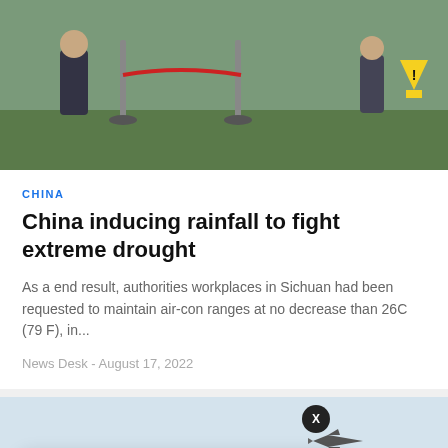[Figure (photo): Outdoor scene with rope barriers on a grass field, people standing nearby, yellow caution sign in background.]
CHINA
China inducing rainfall to fight extreme drought
As a end result, authorities workplaces in Sichuan had been requested to maintain air-con ranges at no decrease than 26C (79 F), in...
News Desk  -  August 17, 2022
[Figure (photo): Sky with hazy mountains and a military jet aircraft visible.]
Strike deadlock shuts Nigerian universities for months
1 hour ago